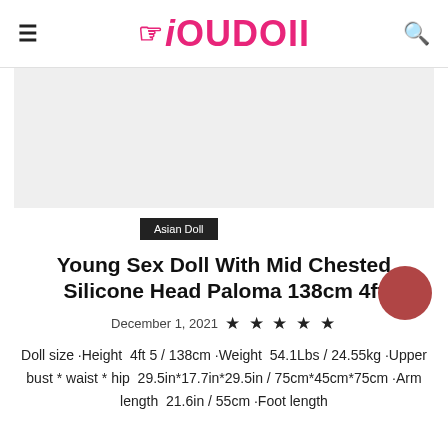iOUDOII
[Figure (illustration): Gray placeholder image area for product photo]
Asian Doll
Young Sex Doll With Mid Chested Silicone Head Paloma 138cm 4ft
December 1, 2021  ★ ★ ★ ★ ★
Doll size ·Height  4ft 5 / 138cm ·Weight  54.1Lbs / 24.55kg ·Upper bust * waist * hip  29.5in*17.7in*29.5in / 75cm*45cm*75cm ·Arm length  21.6in / 55cm ·Foot length